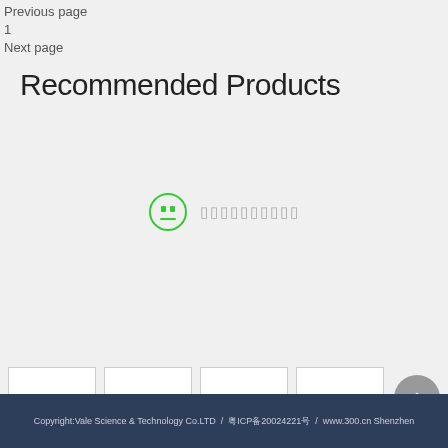Previous page
1
Next page
Recommended Products
[Figure (illustration): Empty state icon: a neutral face in a green circle with box-shaped eyes and a flat mouth, followed by placeholder text squares representing Chinese characters]
[Figure (photo): Four blank white thumbnail image boxes and a grey circular back-to-top arrow button]
Copyright:Vale Science & Technology Co.LTD  /  粤ICP备20024221号  /  www.300.cn Shenzhen